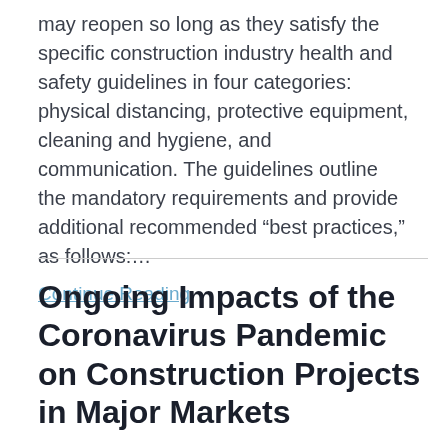may reopen so long as they satisfy the specific construction industry health and safety guidelines in four categories: physical distancing, protective equipment, cleaning and hygiene, and communication. The guidelines outline the mandatory requirements and provide additional recommended “best practices,” as follows:…
Continue Reading
Ongoing Impacts of the Coronavirus Pandemic on Construction Projects in Major Markets